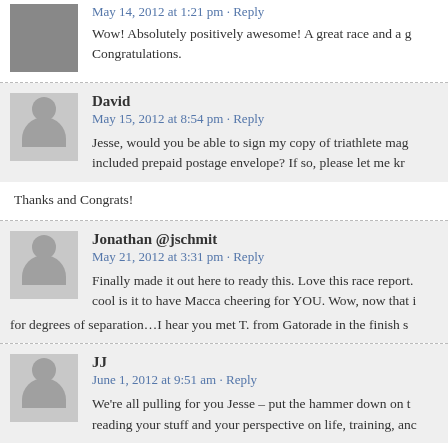Wow! Absolutely positively awesome! A great race and a g… Congratulations.
David
May 15, 2012 at 8:54 pm · Reply
Jesse, would you be able to sign my copy of triathlete mag… included prepaid postage envelope? If so, please let me kr…
Thanks and Congrats!
Jonathan @jschmit
May 21, 2012 at 3:31 pm · Reply
Finally made it out here to ready this. Love this race report. cool is it to have Macca cheering for YOU. Wow, now that i for degrees of separation…I hear you met T. from Gatorade in the finish s
JJ
June 1, 2012 at 9:51 am · Reply
We're all pulling for you Jesse – put the hammer down on t… reading your stuff and your perspective on life, training, anc…